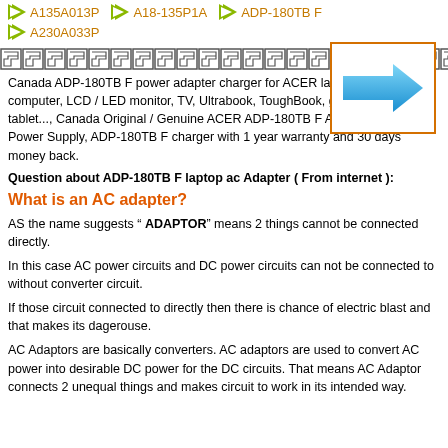A135A013P
A18-135P1A
ADP-180TB F
A230A033P
[Figure (illustration): Blue right-pointing arrow inside an orange-bordered rectangle box]
[Figure (illustration): Greek meander/repeating decorative border pattern]
Canada ADP-180TB F power adapter charger for ACER laptop, notebook, computer, LCD / LED monitor, TV, Ultrabook, ToughBook, gaming PC, tablet..., Canada Original / Genuine ACER ADP-180TB F AC / DC adapters, Power Supply, ADP-180TB F charger with 1 year warranty and 30 days money back.
Question about ADP-180TB F laptop ac Adapter ( From internet ):
What is an AC adapter?
AS the name suggests " ADAPTOR" means 2 things cannot be connected directly.
In this case AC power circuits and DC power circuits can not be connected to without converter circuit.
If those circuit connected to directly then there is chance of electric blast and that makes its dagerouse.
AC Adaptors are basically converters. AC adaptors are used to convert AC power into desirable DC power for the DC circuits. That means AC Adaptor connects 2 unequal things and makes circuit to work in its intended way.